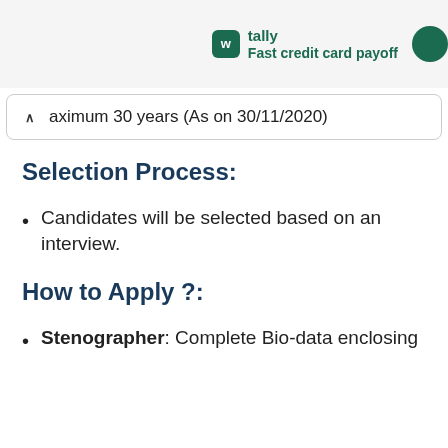[Figure (screenshot): Tally app advertisement banner with logo and text 'Fast credit card payoff']
aximum 30 years (As on 30/11/2020)
Selection Process:
Candidates will be selected based on an interview.
How to Apply ?:
Stenographer: Complete Bio-data enclosing